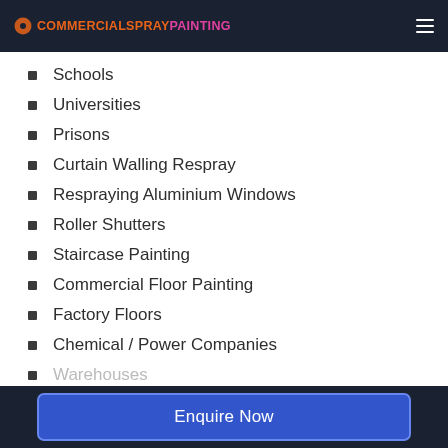COMMERCIALSPRAYPAINTING
Schools
Universities
Prisons
Curtain Walling Respray
Respraying Aluminium Windows
Roller Shutters
Staircase Painting
Commercial Floor Painting
Factory Floors
Chemical / Power Companies
Warehouses
Enquire Now